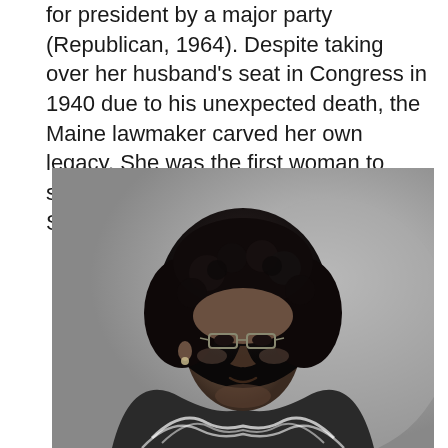for president by a major party (Republican, 1964). Despite taking over her husband's seat in Congress in 1940 due to his unexpected death, the Maine lawmaker carved her own legacy. She was the first woman to serve in both the House and the Senate.
[Figure (photo): Black and white photograph of a Black woman with a large afro hairstyle, wearing glasses and a patterned top, looking slightly upward and to the right.]